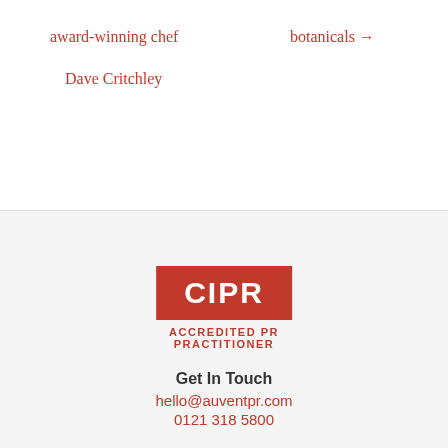award-winning chef
botanicals →
Dave Critchley
[Figure (logo): CIPR Accredited PR Practitioner logo — red rectangle with white CIPR text, and red ACCREDITED PR PRACTITIONER text below]
Get In Touch
hello@auventpr.com
0121 318 5800